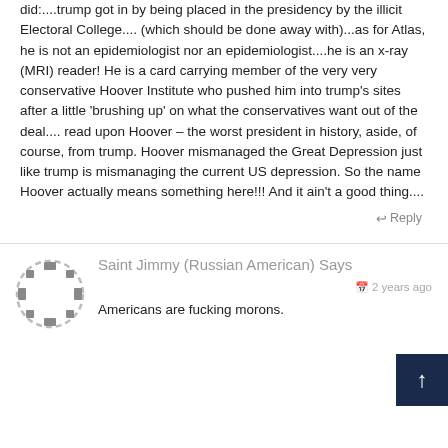did:....trump got in by being placed in the presidency by the illicit Electoral College.... (which should be done away with)...as for Atlas, he is not an epidemiologist nor an epidemiologist....he is an x-ray (MRI) reader! He is a card carrying member of the very very conservative Hoover Institute who pushed him into trump's sites after a little 'brushing up' on what the conservatives want out of the deal.... read upon Hoover – the worst president in history, aside, of course, from trump. Hoover mismanaged the Great Depression just like trump is mismanaging the current US depression. So the name Hoover actually means something here!!! And it ain't a good thing....
↩ Reply
[Figure (illustration): Circular avatar icon with dashed border segments and small square notches, gray on white background]
Saint Jimmy (Russian American) Says
2 years ago
Americans are fucking morons.